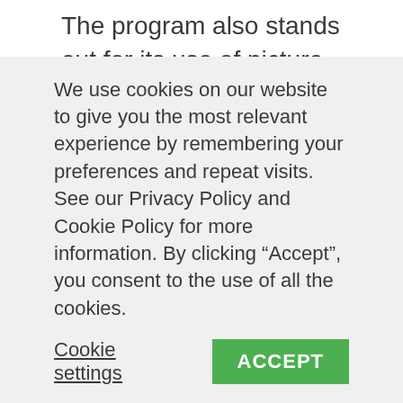The program also stands out for its use of picture and living books that can help students approach math concepts from another angle and create a more enjoyable, literature-rich learning environment.
In terms of hands-on learning, throughout its lessons students engage in a variety of parent-led activities and physical games, such as playing go fish, flipping coins, card
We use cookies on our website to give you the most relevant experience by remembering your preferences and repeat visits. See our Privacy Policy and Cookie Policy for more information. By clicking “Accept”, you consent to the use of all the cookies.
Cookie settings
ACCEPT